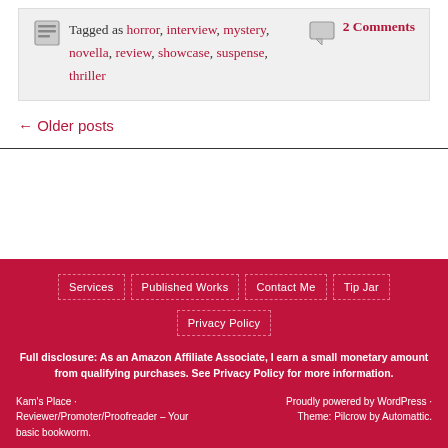Tagged as horror, interview, mystery, novella, review, showcase, suspense, thriller
2 Comments
← Older posts
Services | Published Works | Contact Me | Tip Jar | Privacy Policy
Full disclosure: As an Amazon Affiliate Associate, I earn a small monetary amount from qualifying purchases. See Privacy Policy for more information.
Kam's Place · Reviewer/Promoter/Proofreader – Your basic bookworm.
Proudly powered by WordPress · Theme: Pilcrow by Automattic.